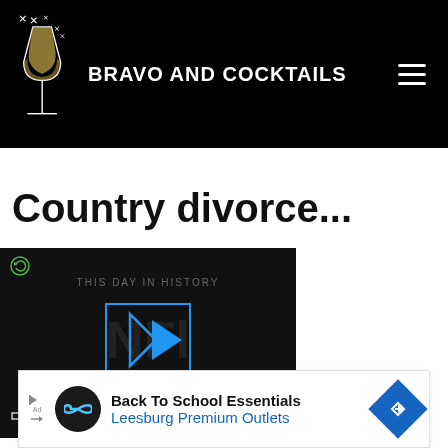BRAVO AND COCKTAILS
Country divorce...
[Figure (screenshot): Video player showing 'THIS DAY IN HISTORY' with blue play button arrows, text 'AUGUST' at bottom, mute icon at bottom-left, loop icon at top-left]
[Figure (infographic): Advertisement banner: 'Back To School Essentials / Leesburg Premium Outlets' with circular logo and blue navigation arrow icon on right]